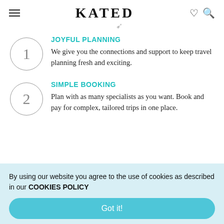KATED
JOYFUL PLANNING
We give you the connections and support to keep travel planning fresh and exciting.
SIMPLE BOOKING
Plan with as many specialists as you want. Book and pay for complex, tailored trips in one place.
By using our website you agree to the use of cookies as described in our COOKIES POLICY